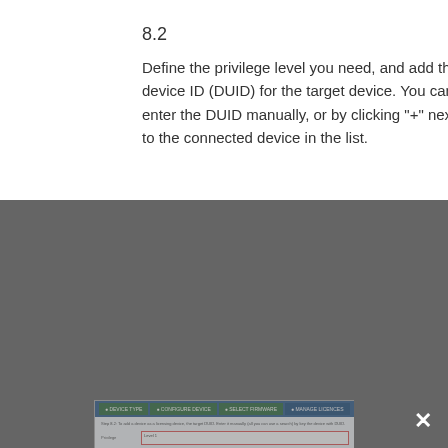8.2
Define the privilege level you need, and add the device ID (DUID) for the target device. You can enter the DUID manually, or by clicking "+" next to the connected device in the list.
[Figure (screenshot): Screenshot of a multi-step dialog for adding a target device with privilege level and DUID fields, partially obscured by a cookie consent overlay.]
We use cookies to make your experience of our website better. Continuing on our website, you give us your consent to set these cookies. Find out more